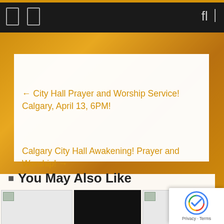Navigation bar with icons and search
← City Hall Prayer and Worship Service! Calgary, April 13, 6PM!
Calgary City Hall Awakening! Prayer and Worship! →
You May Also Like
[Figure (screenshot): Three thumbnail images in a row at bottom of page]
[Figure (logo): reCAPTCHA Privacy badge in bottom right corner]